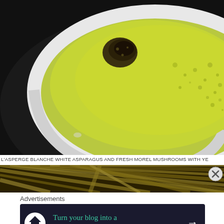[Figure (photo): Close-up photo of a white bowl containing vibrant yellow-green asparagus or vegetable soup with fresh morel mushrooms visible on the surface, set against a dark background.]
L'ASPERGE BLANCHE WHITE ASPARAGUS AND FRESH MOREL MUSHROOMS WITH YE
[Figure (photo): Partial image showing a zebra-striped pattern or textured surface, possibly a food item or decorative element, with a close (X) button overlay in the top right corner.]
Advertisements
[Figure (infographic): Advertisement banner with dark navy background featuring a circular icon with a house/tree symbol on the left, teal text reading 'Turn your blog into a money-making online course.' and a white arrow pointing right.]